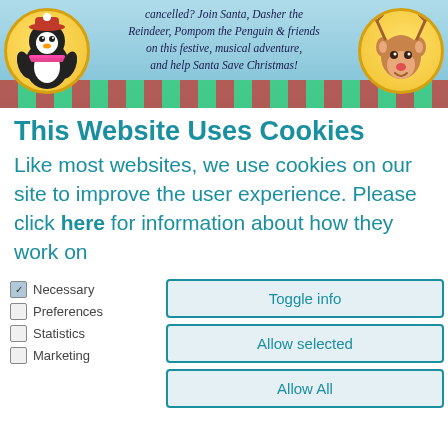[Figure (illustration): Website banner showing a penguin character on the left in a yellow circle, a reindeer character on the right in a yellow circle, striped Christmas candy-cane background at the bottom, and text in the center reading: 'cancelled? Join Santa, Dasher the Reindeer, Pompom the Penguin & friends on this festive, musical adventure, and help Santa Save Christmas!']
This Website Uses Cookies
Like most websites, we use cookies on our site to improve the user experience. Please click here for information about how they work on
Necessary (checked)
Preferences
Statistics
Marketing
Toggle info
Allow selected
Allow All